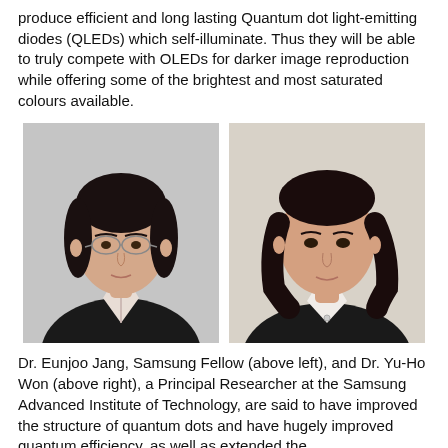produce efficient and long lasting Quantum dot light-emitting diodes (QLEDs) which self-illuminate. Thus they will be able to truly compete with OLEDs for darker image reproduction while offering some of the brightest and most saturated colours available.
[Figure (photo): Two portrait photos side by side: Dr. Eunjoo Jang (left) and Dr. Yu-Ho Won (right)]
Dr. Eunjoo Jang, Samsung Fellow (above left), and Dr. Yu-Ho Won (above right), a Principal Researcher at the Samsung Advanced Institute of Technology, are said to have improved the structure of quantum dots and have hugely improved quantum efficiency, as well as extended the